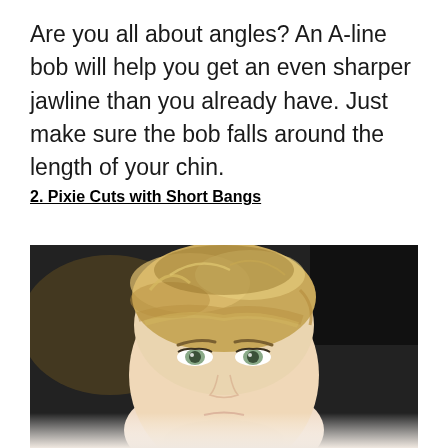Are you all about angles? An A-line bob will help you get an even sharper jawline than you already have. Just make sure the bob falls around the length of your chin.
2. Pixie Cuts with Short Bangs
[Figure (photo): Close-up photo of a woman with a short blonde pixie cut with textured, layered bangs. Dark background at top, face visible in lower portion of image. Photo is cropped at bottom.]